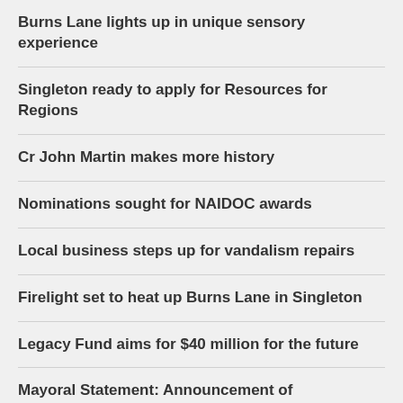Burns Lane lights up in unique sensory experience
Singleton ready to apply for Resources for Regions
Cr John Martin makes more history
Nominations sought for NAIDOC awards
Local business steps up for vandalism repairs
Firelight set to heat up Burns Lane in Singleton
Legacy Fund aims for $40 million for the future
Mayoral Statement: Announcement of